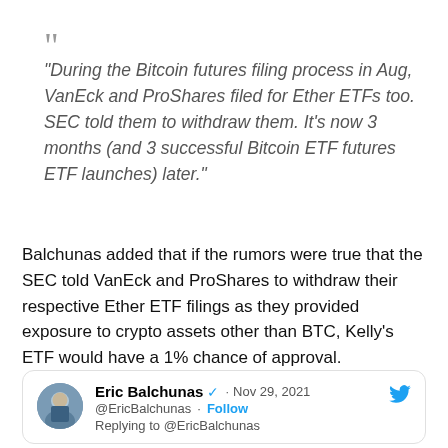“During the Bitcoin futures filing process in Aug, VanEck and ProShares filed for Ether ETFs too. SEC told them to withdraw them. It’s now 3 months (and 3 successful Bitcoin ETF futures ETF launches) later.”
Balchunas added that if the rumors were true that the SEC told VanEck and ProShares to withdraw their respective Ether ETF filings as they provided exposure to crypto assets other than BTC, Kelly’s ETF would have a 1% chance of approval.
[Figure (screenshot): Embedded tweet card from Eric Balchunas (@EricBalchunas), verified account, dated Nov 29, 2021, replying to @EricBalchunas. Shows profile photo, name, blue verified checkmark, date, handle, Follow link, and reply text.]